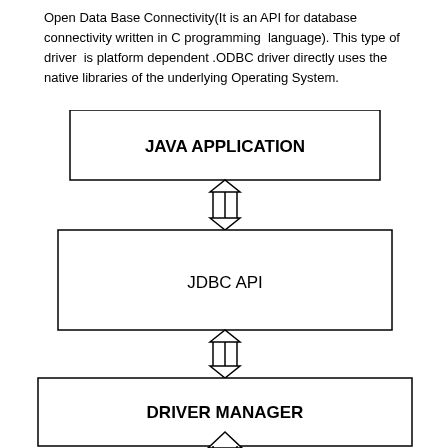Open Data Base Connectivity(It is an API for database connectivity written in C programming language). This type of driver is platform dependent .ODBC driver directly uses the native libraries of the underlying Operating System.
[Figure (flowchart): Architecture diagram showing layered stack: JAVA APPLICATION box at top, connected by double-headed arrow to JDBC API box in middle, connected by double-headed arrow to DRIVER MANAGER box, with an upward arrow at the bottom.]